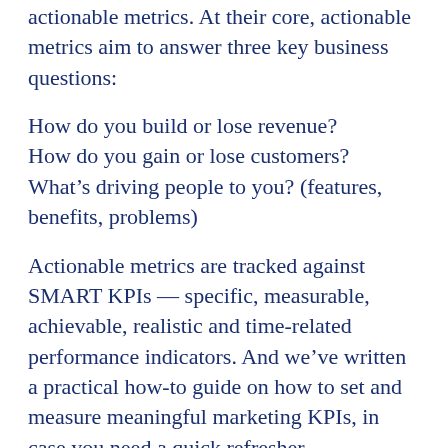actionable metrics. At their core, actionable metrics aim to answer three key business questions:
How do you build or lose revenue?
How do you gain or lose customers?
What's driving people to you? (features, benefits, problems)
Actionable metrics are tracked against SMART KPIs — specific, measurable, achievable, realistic and time-related performance indicators. And we've written a practical how-to guide on how to set and measure meaningful marketing KPIs, in case you need a quick refresher.